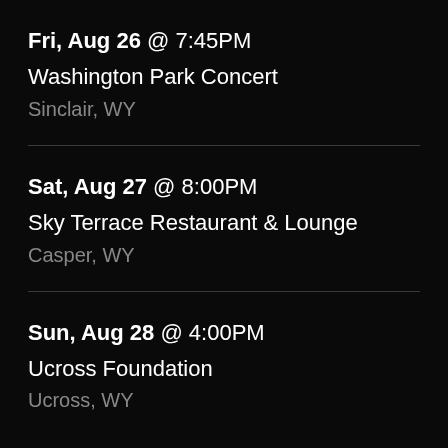Fri, Aug 26 @ 7:45PM
Washington Park Concert
Sinclair, WY
Sat, Aug 27 @ 8:00PM
Sky Terrace Restaurant & Lounge
Casper, WY
Sun, Aug 28 @ 4:00PM
Ucross Foundation
Ucross, WY